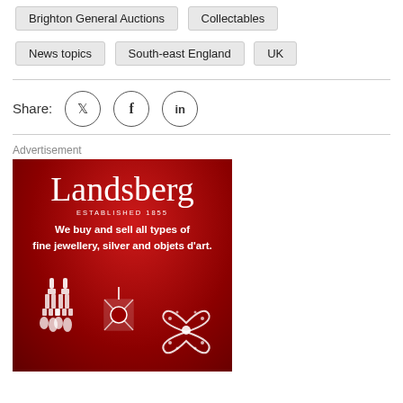Brighton General Auctions
Collectables
News topics
South-east England
UK
Share:
Advertisement
[Figure (photo): Landsberg jewellery advertisement on red background showing earrings, pendant and brooch. Text reads: Landsberg, ESTABLISHED 1855, We buy and sell all types of fine jewellery, silver and objets d'art.]